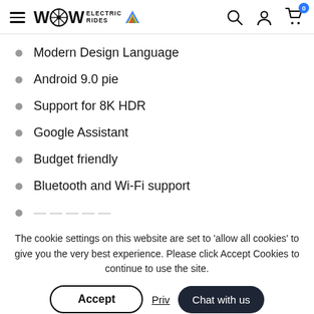WOW ELECTRIC RIDES — navigation header with hamburger menu, search, account, and cart icons
Modern Design Language
Android 9.0 pie
Support for 8K HDR
Google Assistant
Budget friendly
Bluetooth and Wi-Fi support
The cookie settings on this website are set to 'allow all cookies' to give you the very best experience. Please click Accept Cookies to continue to use the site.
Accept | Privacy | Chat with us